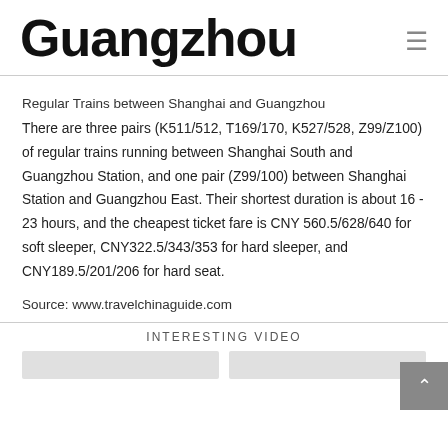Guangzhou
Regular Trains between Shanghai and Guangzhou
There are three pairs (K511/512, T169/170, K527/528, Z99/Z100) of regular trains running between Shanghai South and Guangzhou Station, and one pair (Z99/100) between Shanghai Station and Guangzhou East. Their shortest duration is about 16 - 23 hours, and the cheapest ticket fare is CNY 560.5/628/640 for soft sleeper, CNY322.5/343/353 for hard sleeper, and CNY189.5/201/206 for hard seat.
Source: www.travelchinaguide.com
INTERESTING VIDEO